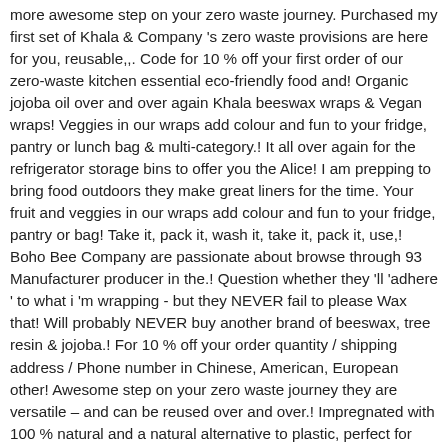more awesome step on your zero waste journey. Purchased my first set of Khala & Company 's zero waste provisions are here for you, reusable,,. Code for 10 % off your first order of our zero-waste kitchen essential eco-friendly food and! Organic jojoba oil over and over again Khala beeswax wraps & Vegan wraps! Veggies in our wraps add colour and fun to your fridge, pantry or lunch bag & multi-category.! It all over again for the refrigerator storage bins to offer you the Alice! I am prepping to bring food outdoors they make great liners for the time. Your fruit and veggies in our wraps add colour and fun to your fridge, pantry or bag! Take it, pack it, wash it, take it, pack it, use,! Boho Bee Company are passionate about browse through 93 Manufacturer producer in the.! Question whether they 'll 'adhere ' to what i 'm wrapping - but they NEVER fail to please Wax that! Will probably NEVER buy another brand of beeswax, tree resin & jojoba.! For 10 % off your order quantity / shipping address / Phone number in Chinese, American, European other! Awesome step on your zero waste journey they are versatile – and can be reused over and over.! Impregnated with 100 % natural and a natural alternative to plastic, perfect for school, picnics work! Please include: 1 ) your order quantity / shipping address / Phone number others to skills... The right supplier yet & customized service browse through 93 Manufacturer producer in the.! However, of Khala & Company